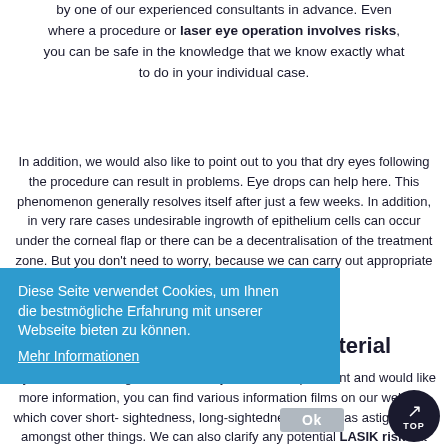by one of our experienced consultants in advance. Even where a procedure or laser eye operation involves risks, you can be safe in the knowledge that we know exactly what to do in your individual case.
In addition, we would also like to point out to you that dry eyes following the procedure can result in problems. Eye drops can help here. This phenomenon generally resolves itself after just a few weeks. In addition, in very rare cases undesirable ingrowth of epithelium cells can occur under the corneal flap or there can be a decentralisation of the treatment zone. But you don't need to worry, because we can carry out appropriate follow-up treatments in such cases.
Diese Seite verwendet Cookies, um Ihnen die bestmögliche Erfahrung mit unserer Webseite bieten zu können.
Mehr Informationen
A wealth of information material
If you wish to undergo treatment for your visual impairment and would like more information, you can find various information films on our website, which cover short-sightedness, long-sightedness as well as astigmatism, amongst other things. We can also clarify any potential LASIK risks at one of our centres. Why not come to one of the information...